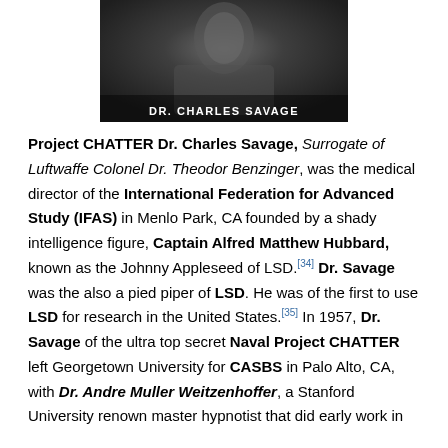[Figure (photo): Black and white portrait photograph of Dr. Charles Savage with a caption overlay reading 'DR. CHARLES SAVAGE']
Project CHATTER Dr. Charles Savage, Surrogate of Luftwaffe Colonel Dr. Theodor Benzinger, was the medical director of the International Federation for Advanced Study (IFAS) in Menlo Park, CA founded by a shady intelligence figure, Captain Alfred Matthew Hubbard, known as the Johnny Appleseed of LSD.[34] Dr. Savage was the also a pied piper of LSD. He was of the first to use LSD for research in the United States.[35] In 1957, Dr. Savage of the ultra top secret Naval Project CHATTER left Georgetown University for CASBS in Palo Alto, CA, with Dr. Andre Muller Weitzenhoffer, a Stanford University renown master hypnotist that did early work in